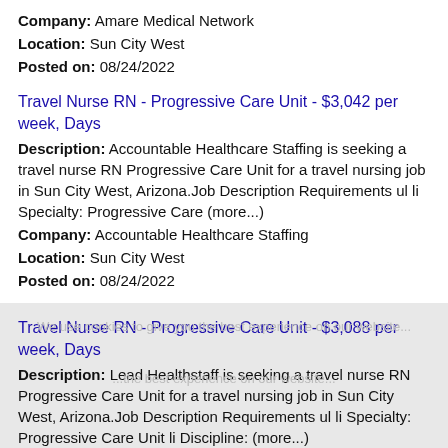Company: Amare Medical Network
Location: Sun City West
Posted on: 08/24/2022
Travel Nurse RN - Progressive Care Unit - $3,042 per week, Days
Description: Accountable Healthcare Staffing is seeking a travel nurse RN Progressive Care Unit for a travel nursing job in Sun City West, Arizona.Job Description Requirements ul li Specialty: Progressive Care (more...)
Company: Accountable Healthcare Staffing
Location: Sun City West
Posted on: 08/24/2022
Travel Nurse RN - Progressive Care Unit - $3,088 per week, Days
Description: Lead Healthstaff is seeking a travel nurse RN Progressive Care Unit for a travel nursing job in Sun City West, Arizona.Job Description Requirements ul li Specialty: Progressive Care Unit li Discipline: (more...)
Company: Lead Healthstaff
Location: Sun City West
Posted on: 08/24/2022